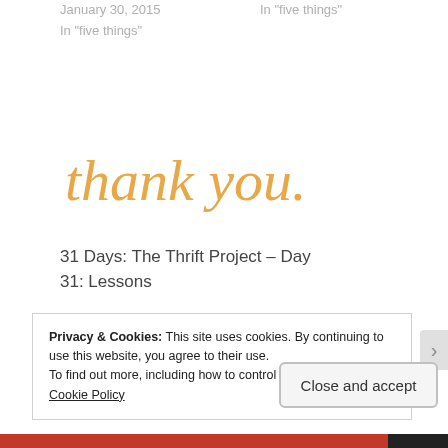January 30, 2015
In "five things"
In "five things"
[Figure (illustration): Decorative 'thank you.' text in orange cursive script]
31 Days: The Thrift Project – Day 31: Lessons
October 31, 2012
In "31 Days"
Privacy & Cookies: This site uses cookies. By continuing to use this website, you agree to their use.
To find out more, including how to control cookies, see here: Cookie Policy
Close and accept